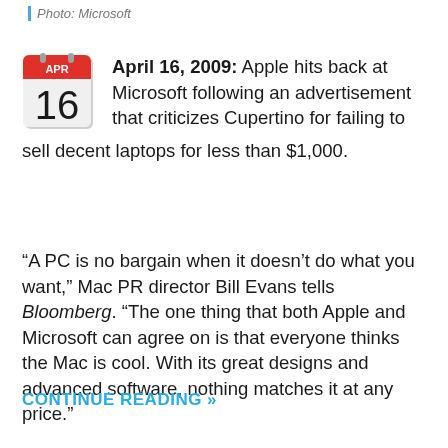Photo: Microsoft
April 16, 2009: Apple hits back at Microsoft following an advertisement that criticizes Cupertino for failing to sell decent laptops for less than $1,000.
“A PC is no bargain when it doesn’t do what you want,” Mac PR director Bill Evans tells Bloomberg. “The one thing that both Apple and Microsoft can agree on is that everyone thinks the Mac is cool. With its great designs and advanced software, nothing matches it at any price.”
CONTINUE READING »